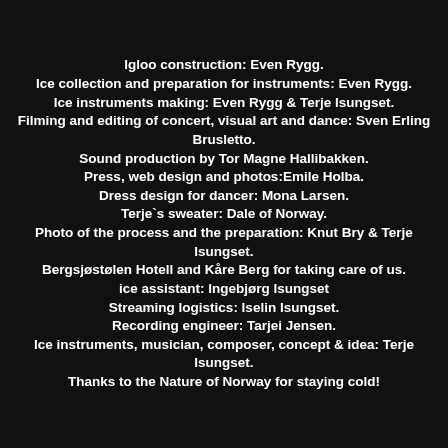Igloo construction: Even Rygg.
Ice collection and preparation for instruments: Even Rygg.
Ice instruments making: Even Rygg & Terje Isungset.
Filming and editing of concert, visual art and dance: Sven Erling Brusletto.
Sound production by Tor Magne Hallibakken.
Press, web design and photos:Emile Holba.
Dress design for dancer: Mona Larsen.
Terje`s sweater: Dale of Norway.
Photo of the process and the preparation: Knut Bry & Terje Isungset.
Bergsjøstølen Hotell and Kåre Berg for taking care of us.
ice assistant: Ingebjørg Isungset
Streaming logistics: Iselin Isungset.
Recording engineer: Tarjei Jensen.
Ice instruments, musician, composer, concept & idea: Terje Isungset.

Thanks to the Nature of Norway for staying cold!